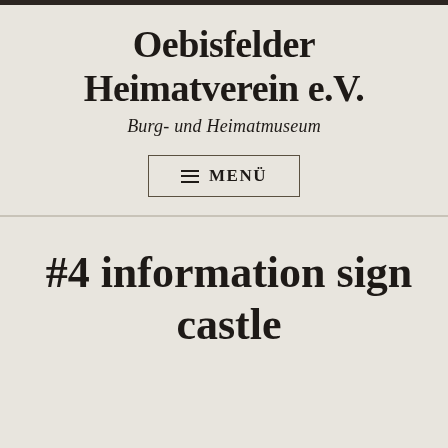Oebisfelder Heimatverein e.V.
Burg- und Heimatmuseum
≡ MENÜ
#4 information sign castle